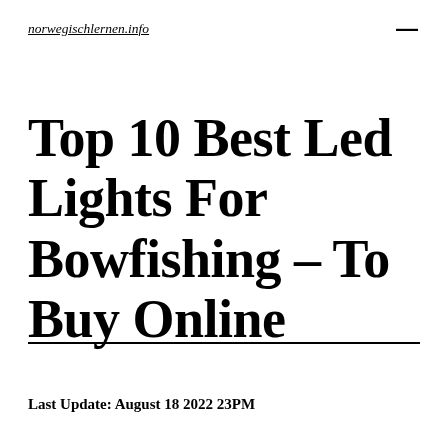norwegischlernen.info
Top 10 Best Led Lights For Bowfishing – To Buy Online
Last Update: August 18 2022 23PM